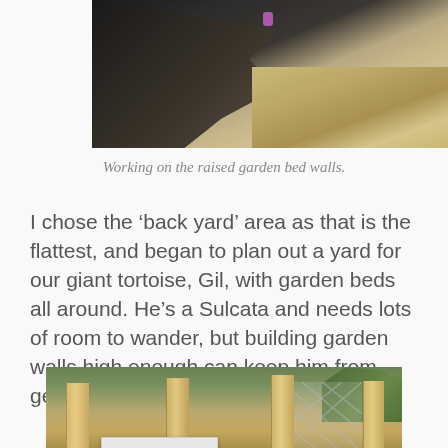[Figure (photo): Outdoor photo showing a rocky wall or raised garden bed under construction, with sandy/straw-covered ground on the right side. A small purple marker is visible near the top center.]
Working on the raised garden bed walls.
I chose the ‘back yard’ area as that is the flattest, and began to plan out a yard for our giant tortoise, Gil, with garden beds all around. He’s a Sulcata and needs lots of room to wander, but building garden walls high enough can keep him from getting out or seeing what’s growing.
[Figure (photo): Outdoor photo showing wooden posts/poles planted in dry ground, with a small white table or platform visible at the bottom center. Green shrubs visible in the background on the right, along with a white lattice fence.]